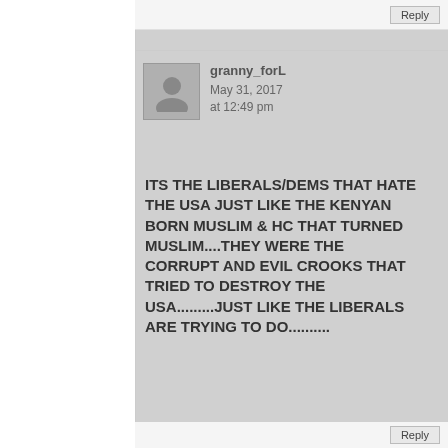[Figure (illustration): User avatar placeholder icon - grey silhouette of a person on grey background]
granny_forL
May 31, 2017 at 12:49 pm
ITS THE LIBERALS/DEMS THAT HATE THE USA JUST LIKE THE KENYAN BORN MUSLIM & HC THAT TURNED MUSLIM....THEY WERE THE CORRUPT AND EVIL CROOKS THAT TRIED TO DESTROY THE USA.........JUST LIKE THE LIBERALS ARE TRYING TO DO..........